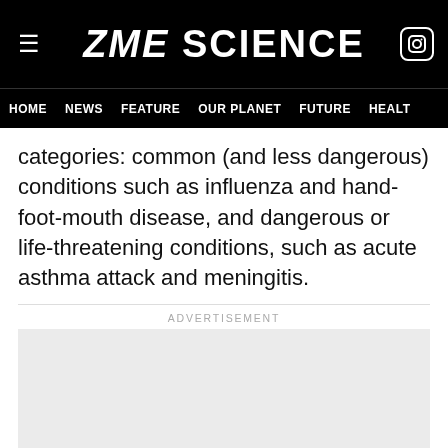ZME SCIENCE
HOME  NEWS  FEATURE  OUR PLANET  FUTURE  HEALT
categories: common (and less dangerous) conditions such as influenza and hand-foot-mouth disease, and dangerous or life-threatening conditions, such as acute asthma attack and meningitis.
[Figure (other): Advertisement placeholder box (gray rectangle)]